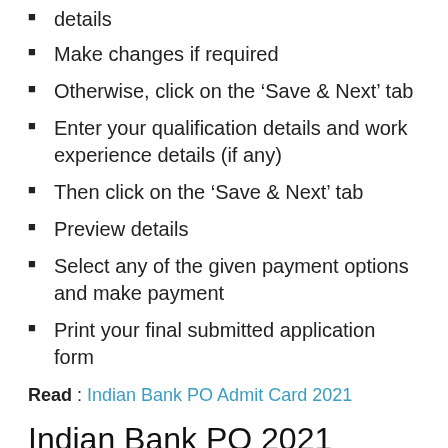details
Make changes if required
Otherwise, click on the ‘Save & Next’ tab
Enter your qualification details and work experience details (if any)
Then click on the ‘Save & Next’ tab
Preview details
Select any of the given payment options and make payment
Print your final submitted application form
Read : Indian Bank PO Admit Card 2021
Indian Bank PO 2021 Exam Pattern
Indian Bank PO recruitment will have 3 stages,